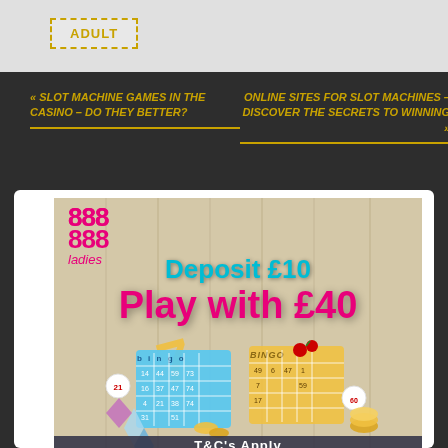ADULT
« SLOT MACHINE GAMES IN THE CASINO – DO THEY BETTER?
ONLINE SITES FOR SLOT MACHINES – DISCOVER THE SECRETS TO WINNING »
[Figure (illustration): 888 Ladies bingo advertisement banner: 'Deposit £10, Play with £40' with bingo cards, bingo balls, and gold coins on a wood-plank background. T&Cs Apply at the bottom.]